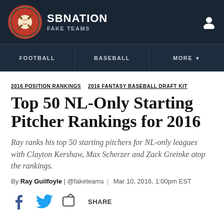SB NATION | FAKE TEAMS
FOOTBALL | BASEBALL | MORE
2016 POSITION RANKINGS  2016 FANTASY BASEBALL DRAFT KIT
Top 50 NL-Only Starting Pitcher Rankings for 2016
Ray ranks his top 50 starting pitchers for NL-only leagues with Clayton Kershaw, Max Scherzer and Zack Greinke atop the rankings.
By Ray Guilfoyle | @faketeams | Mar 10, 2016, 1:00pm EST
SHARE